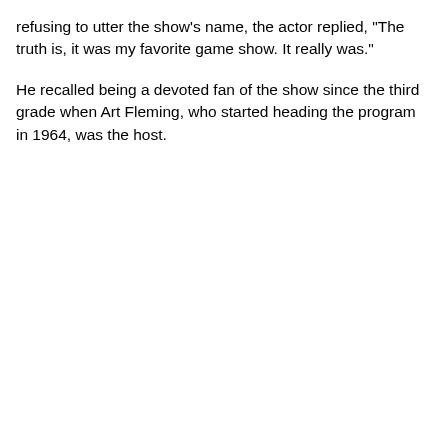refusing to utter the show's name, the actor replied, "The truth is, it was my favorite game show. It really was."
He recalled being a devoted fan of the show since the third grade when Art Fleming, who started heading the program in 1964, was the host.